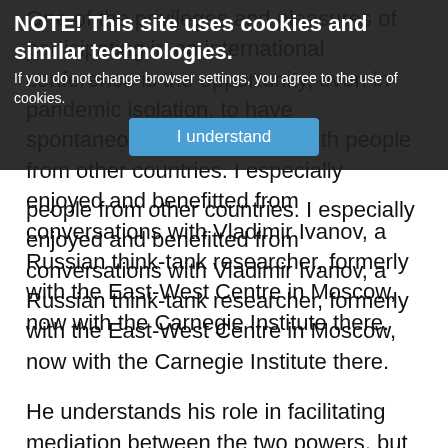One of the privileges and pleasures of participating in an international conference is the opportunity, even in pandemic isolation, to have spontaneous conversations with people from other countries. I especially enjoyed and benefitted from conversations with Vladimir Ivanov, a Russian think-tank researcher, formerly with the East-West Centre in Moscow, now with the Carnegie Institute there.
NOTE! This site uses cookies and similar technologies. If you do not change browser settings, you agree to the use of cookies. I understand
He understands his role in facilitating mediation between the two powers, but he also faces possible consequences of the next round of legislation targeted against “foreign agents”. His analysis of the disasters of the Ukraine War, the dangers of escalation, and the need for a ceasefire and negotiations were very close to mine. To make sense of Putin’s miscalculations he remarked on his yes men’s fears of giving the tsar unwanted news.
I queried Vladimir about Putin’s health and who will follow Putin, whenever that time comes. Dr Ivanov confirmed that